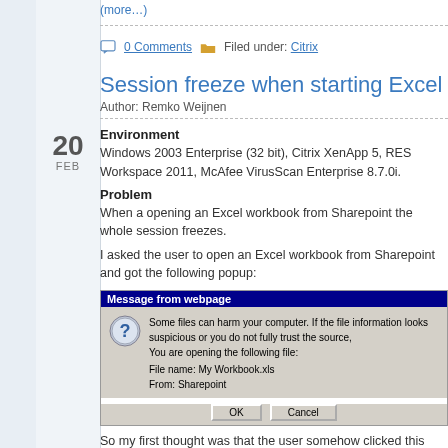(more…)
0 Comments   Filed under: Citrix
Session freeze when starting Excel
Author: Remko Weijnen
Environment
Windows 2003 Enterprise (32 bit), Citrix XenApp 5, RES Workspace 2011, McAfee VirusScan Enterprise 8.7.0i.
Problem
When a opening an Excel workbook from Sharepoint the whole session freezes.
I asked the user to open an Excel workbook from Sharepoint and got the following popup:
[Figure (screenshot): Windows XP style dialog box titled 'Message from webpage' with a warning about opening a file named 'My Workbook.xls' from Sharepoint, with OK and Cancel buttons.]
So my first thought was that the user somehow clicked this message